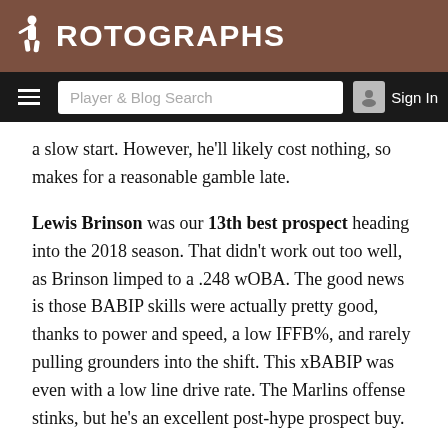ROTOGRAPHS
Player & Blog Search | Sign In
a slow start. However, he'll likely cost nothing, so makes for a reasonable gamble late.
Lewis Brinson was our 13th best prospect heading into the 2018 season. That didn't work out too well, as Brinson limped to a .248 wOBA. The good news is those BABIP skills were actually pretty good, thanks to power and speed, a low IFFB%, and rarely pulling grounders into the shift. This xBABIP was even with a low line drive rate. The Marlins offense stinks, but he's an excellent post-hype prospect buy.
Royals manager Ned Yost has already stated that Chris Owings